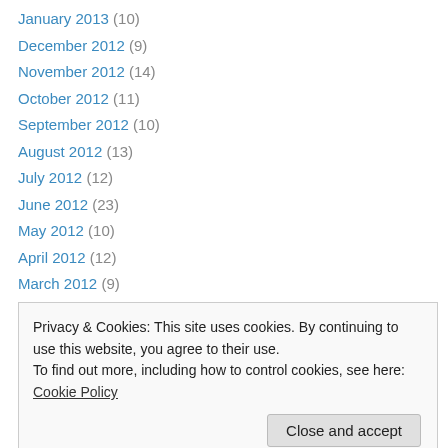January 2013 (10)
December 2012 (9)
November 2012 (14)
October 2012 (11)
September 2012 (10)
August 2012 (13)
July 2012 (12)
June 2012 (23)
May 2012 (10)
April 2012 (12)
March 2012 (9)
February 2012 (15)
January 2012 (10)
Privacy & Cookies: This site uses cookies. By continuing to use this website, you agree to their use. To find out more, including how to control cookies, see here: Cookie Policy
Close and accept
June 2011 (18)